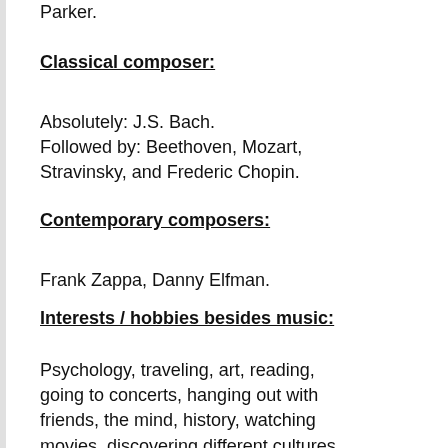Parker.
Classical composer:
Absolutely: J.S. Bach. Followed by: Beethoven, Mozart, Stravinsky, and Frederic Chopin.
Contemporary composers:
Frank Zappa, Danny Elfman.
Interests / hobbies besides music:
Psychology, traveling, art, reading, going to concerts, hanging out with friends, the mind, history, watching movies, discovering different cultures, learning languages, philosophy, people, getting acupuncture, hiking...